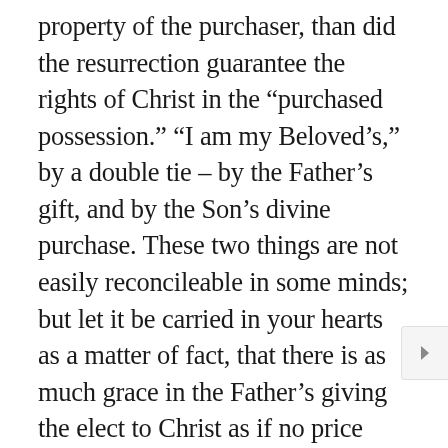property of the purchaser, than did the resurrection guarantee the rights of Christ in the “purchased possession.” “I am my Beloved’s,” by a double tie – by the Father’s gift, and by the Son’s divine purchase. These two things are not easily reconcileable in some minds; but let it be carried in your hearts as a matter of fact, that there is as much grace in the Father’s giving the elect to Christ as if no price were paid, and secondly, that there was as full and true a price paid to the Father as though the Father had been justice only, and not love. The grace of God and his